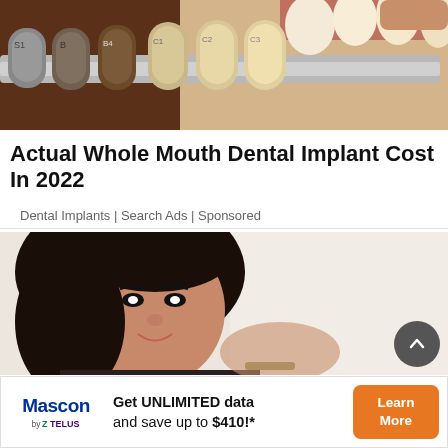[Figure (photo): Close-up photo of dental shade guide held against teeth, showing color swatches labeled S1, B, B4, C1, C2, C3 matched against real teeth]
Actual Whole Mouth Dental Implant Cost In 2022
Dental Implants | Search Ads | Sponsored
[Figure (photo): Photo of a young woman with long dark hair smiling, posing with hand raised near her head against a light background]
[Figure (infographic): Advertisement banner for Mascon by TELUS: 'Get UNLIMITED data and save up to $410!*' with Learn More button]